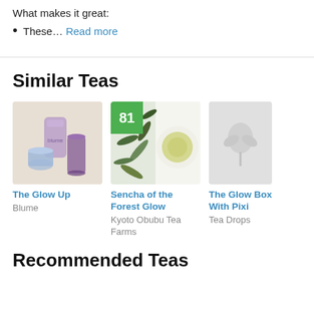What makes it great:
These… Read more
Similar Teas
[Figure (photo): Photo of The Glow Up product from Blume — a purple/lavender bag and cups on a cream background]
The Glow Up
Blume
[Figure (photo): Photo of Sencha of the Forest Glow tea — green tea leaves and a bowl of yellow-green liquid, with score badge 81]
Sencha of the Forest Glow
Kyoto Obubu Tea Farms
[Figure (photo): Placeholder image for The Glow Box With Pixi from Tea Drops — gray background with a leaf/plant logo]
The Glow Box With Pixi
Tea Drops
Recommended Teas